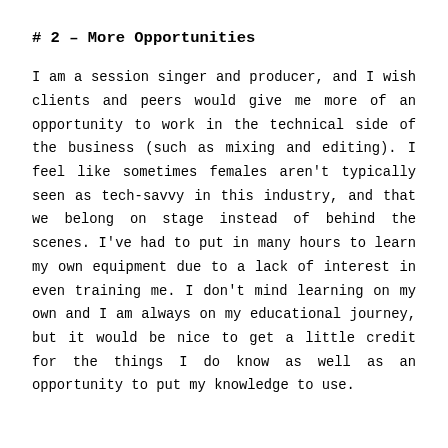# 2 – More Opportunities
I am a session singer and producer, and I wish clients and peers would give me more of an opportunity to work in the technical side of the business (such as mixing and editing). I feel like sometimes females aren't typically seen as tech-savvy in this industry, and that we belong on stage instead of behind the scenes. I've had to put in many hours to learn my own equipment due to a lack of interest in even training me. I don't mind learning on my own and I am always on my educational journey, but it would be nice to get a little credit for the things I do know as well as an opportunity to put my knowledge to use.